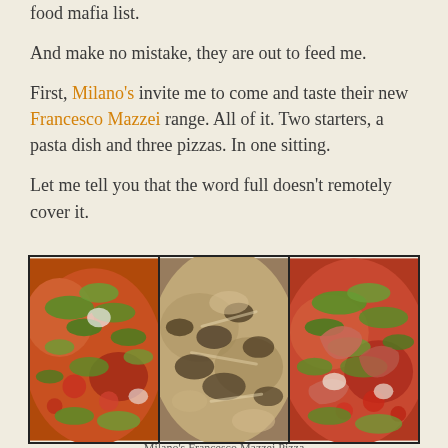food mafia list.
And make no mistake, they are out to feed me.
First, Milano's invite me to come and taste their new Francesco Mazzei range. All of it. Two starters, a pasta dish and three pizzas. In one sitting.
Let me tell you that the word full doesn't remotely cover it.
[Figure (photo): Three close-up food photos side by side: left shows pizza with greens and tomatoes, middle shows a mushroom/truffle flatbread close-up, right shows pizza with prosciutto, arugula and tomatoes.]
Milano's Francesco Mazzei Pizza